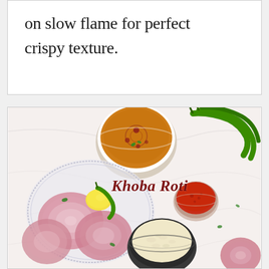on slow flame for perfect crispy texture.
[Figure (photo): Food photography showing ingredients for Khoba Roti: a white bowl of dal/curry with red oil swirls and herbs on top, green chili peppers, sliced red onions on a glass plate with a lemon and green chili, a small glass bowl with red chutney/pickle, a black bowl with minced garlic, and a half onion. Text 'Khoba Roti' overlaid in dark red serif font.]